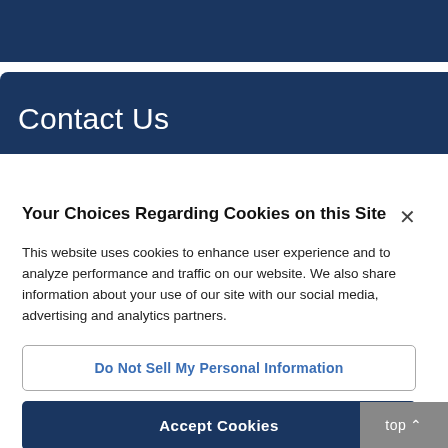Contact Us
Your Choices Regarding Cookies on this Site
This website uses cookies to enhance user experience and to analyze performance and traffic on our website. We also share information about your use of our site with our social media, advertising and analytics partners.
Do Not Sell My Personal Information
Accept Cookies
top